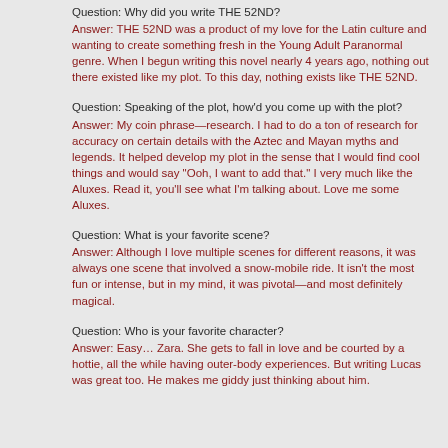Question: Why did you write THE 52ND?
Answer: THE 52ND was a product of my love for the Latin culture and wanting to create something fresh in the Young Adult Paranormal genre. When I begun writing this novel nearly 4 years ago, nothing out there existed like my plot. To this day, nothing exists like THE 52ND.
Question: Speaking of the plot, how'd you come up with the plot?
Answer: My coin phrase—research. I had to do a ton of research for accuracy on certain details with the Aztec and Mayan myths and legends. It helped develop my plot in the sense that I would find cool things and would say "Ooh, I want to add that." I very much like the Aluxes. Read it, you'll see what I'm talking about. Love me some Aluxes.
Question: What is your favorite scene?
Answer: Although I love multiple scenes for different reasons, it was always one scene that involved a snow-mobile ride. It isn't the most fun or intense, but in my mind, it was pivotal—and most definitely magical.
Question: Who is your favorite character?
Answer: Easy… Zara. She gets to fall in love and be courted by a hottie, all the while having outer-body experiences. But writing Lucas was great too. He makes me giddy just thinking about him.